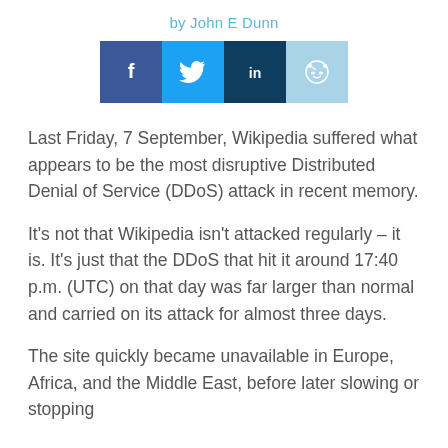by John E Dunn
[Figure (infographic): Social media share buttons: Facebook (dark blue), Twitter (medium blue), LinkedIn (dark navy), Reddit (light blue)]
Last Friday, 7 September, Wikipedia suffered what appears to be the most disruptive Distributed Denial of Service (DDoS) attack in recent memory.
It's not that Wikipedia isn't attacked regularly – it is. It's just that the DDoS that hit it around 17:40 p.m. (UTC) on that day was far larger than normal and carried on its attack for almost three days.
The site quickly became unavailable in Europe, Africa, and the Middle East, before later slowing or stopping